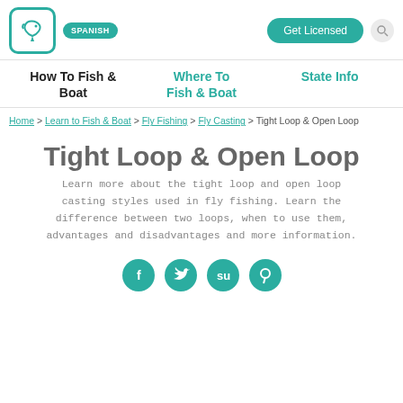SPANISH | Get Licensed
How To Fish & Boat | Where To Fish & Boat | State Info
Home > Learn to Fish & Boat > Fly Fishing > Fly Casting > Tight Loop & Open Loop
Tight Loop & Open Loop
Learn more about the tight loop and open loop casting styles used in fly fishing. Learn the difference between two loops, when to use them, advantages and disadvantages and more information.
[Figure (infographic): Four social media share icons: Facebook, Twitter, StumbleUpon, Pinterest — teal circles with white symbols]